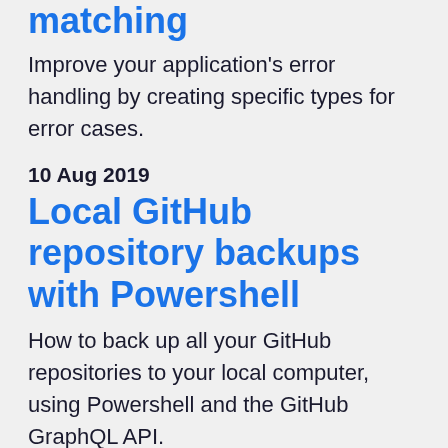matching
Improve your application's error handling by creating specific types for error cases.
10 Aug 2019
Local GitHub repository backups with Powershell
How to back up all your GitHub repositories to your local computer, using Powershell and the GitHub GraphQL API.
06 May 2019
Rolling database backups to Dropbox with Powershell
Automating SQL Server database backups